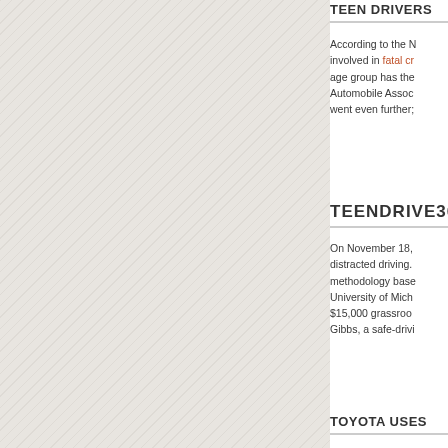[Figure (photo): Textured light gray/beige background panel on the left side of the page, taking up approximately 74% of the page width.]
TEEN DRIVERS
According to the N involved in fatal cr age group has the Automobile Assoc went even further;
TEENDRIVE365
On November 18, distracted driving. methodology base University of Mich $15,000 grassroo Gibbs, a safe-drivi
TOYOTA USES